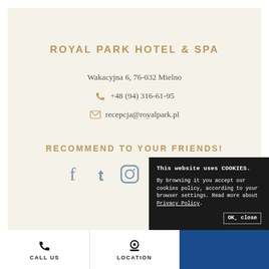ROYAL PARK HOTEL & SPA
Wakacyjna 6, 76-032 Mielno
+48 (94) 316-61-95
recepcja@royalpark.pl
RECOMMEND TO YOUR FRIENDS!
[Figure (other): Social media icons: Facebook, Twitter, Instagram, Flickr, TripAdvisor]
[Figure (other): Cookie consent popup: This website uses COOKIES. By browsing it you accept our cookies policy, according to your browser settings. Read more about Privacy Policy. OK, close button.]
CALL US    LOCATION